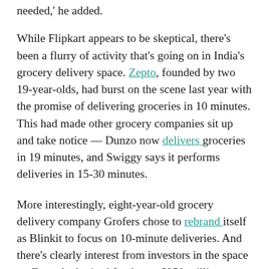needed,' he added.
While Flipkart appears to be skeptical, there's been a flurry of activity that's going on in India's grocery delivery space. Zepto, founded by two 19-year-olds, had burst on the scene last year with the promise of delivering groceries in 10 minutes. This had made other grocery companies sit up and take notice — Dunzo now delivers groceries in 19 minutes, and Swiggy says it performs deliveries in 15-30 minutes.
More interestingly, eight-year-old grocery delivery company Grofers chose to rebrand itself as Blinkit to focus on 10-minute deliveries. And there's clearly interest from investors in the space — Zepto had raised funds at a $250 million valuation six months after founding, and has doubled it to